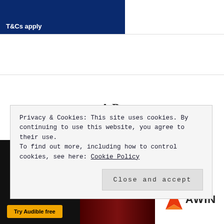T&Cs apply
AD
[Figure (screenshot): Dark advertisement banner showing Audible/product promotion with 'Try Audible free' button and book imagery, alongside AWIN logo]
Privacy & Cookies: This site uses cookies. By continuing to use this website, you agree to their use.
To find out more, including how to control cookies, see here: Cookie Policy
Close and accept